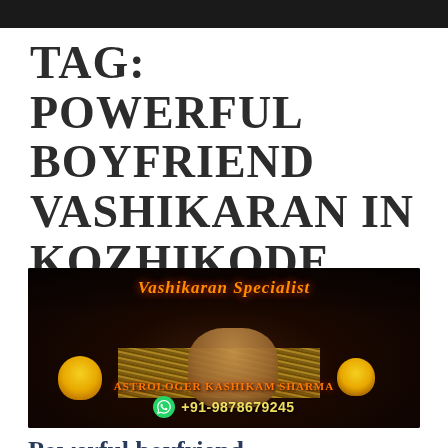TAG: POWERFUL BOYFRIEND VASHIKARAN IN KOZHIKODE
[Figure (photo): Vashikaran Specialist promotional image showing a voodoo doll with straw/twigs on a dark background, flanked by two golden bowls/candles. Text reads 'VASHIKARAN SPECIALIST', 'ASTROLOGER KASHIKAM SHARMA', and phone number '+91-9878679245' with WhatsApp icon.]
Powerful boyfriend vashikaran